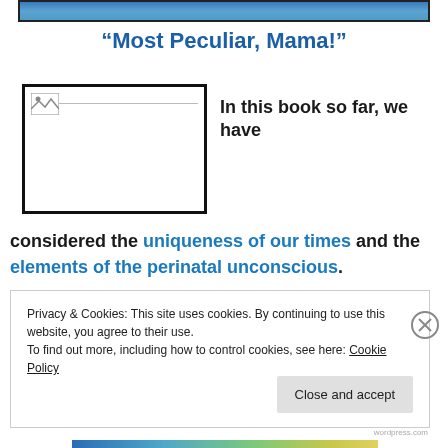[Figure (photo): Top banner image strip with blue/teal gradient, representing a header image for the blog/book page]
“Most Peculiar, Mama!”
[Figure (photo): Broken/placeholder image box with small image icon in top-left corner]
In this book so far, we have
considered the uniqueness of our times and the elements of the perinatal unconscious.
Privacy & Cookies: This site uses cookies. By continuing to use this website, you agree to their use.
To find out more, including how to control cookies, see here: Cookie Policy